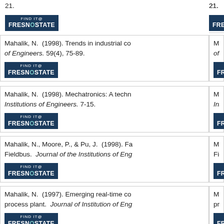21. [Find it @ Fresno State button]
Mahalik, N. (1998). Trends in industrial co... of Engineers. 59(4), 75-89. [Find it @ Fresno State button]
Mahalik, N. (1998). Mechatronics: A techn... Institutions of Engineers. 7-15. [Find it @ Fresno State button]
Mahalik, N., Moore, P., & Pu, J. (1998). Fa... Fieldbus. Journal of the Institutions of Eng... [Find it @ Fresno State button]
Mahalik, N. (1997). Emerging real-time co... process plant. Journal of Institution of Eng... [Find it @ Fresno State button]
Mahalik, N., & Moore, P. (1997). Fieldbus... industries: a case study with LonWorks Te...